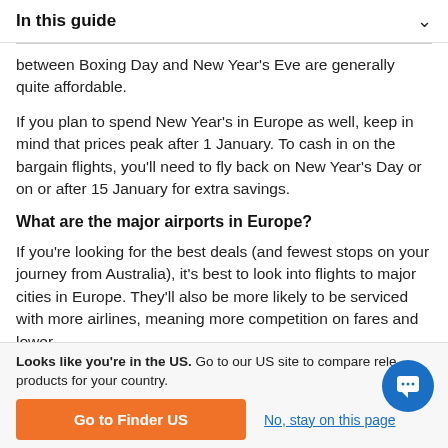In this guide
between Boxing Day and New Year's Eve are generally quite affordable.
If you plan to spend New Year's in Europe as well, keep in mind that prices peak after 1 January. To cash in on the bargain flights, you'll need to fly back on New Year's Day or on or after 15 January for extra savings.
What are the major airports in Europe?
If you're looking for the best deals (and fewest stops on your journey from Australia), it's best to look into flights to major cities in Europe. They'll also be more likely to be serviced with more airlines, meaning more competition on fares and lower
Looks like you're in the US. Go to our US site to compare rele products for your country.
Go to Finder US
No, stay on this page